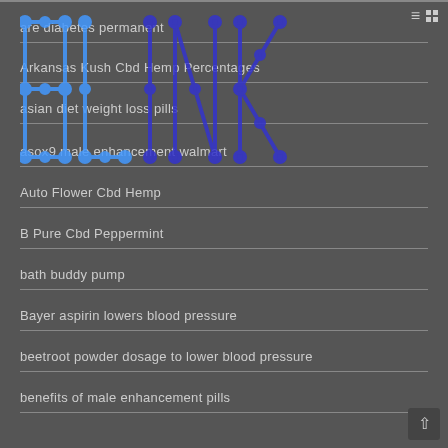are diabetes permanent
Arkansas Kush Cbd Hemp Percentages
asian diet weight loss pills
asox9 male enhancement walmart
Auto Flower Cbd Hemp
B Pure Cbd Peppermint
bath buddy pump
Bayer aspirin lowers blood pressure
beetroot powder dosage to lower blood pressure
benefits of male enhancement pills
best birth control pill to lose weight
best blood sugar control supplement